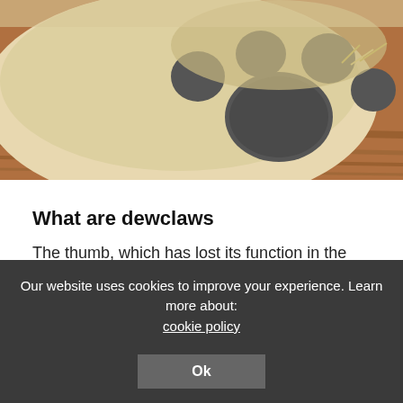[Figure (photo): Close-up photo of a dog's paw/dewclaw area resting on a wooden floor, showing dark grey paw pads and fur]
What are dewclaws
The thumb, which has lost its function in the process of evolution, has become a vestige. It is located just above the foot, so it does not carry any load.
For sporting and show dogs, the presence of dewclaws is considered a defect. It interferes with the first during regular grooming, and the second can be removed from the exhibition
Our website uses cookies to improve your experience. Learn more about: cookie policy Ok